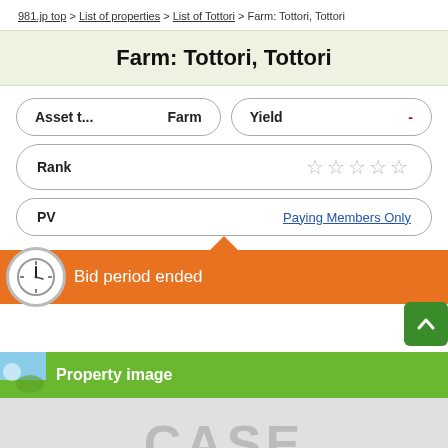981.jp top > List of properties > List of Tottori > Farm: Tottori, Tottori
Farm: Tottori, Tottori
| Asset t... | Farm | Yield | - |
| --- | --- | --- | --- |
| Rank | ☆☆☆☆☆ |
| --- | --- |
| PV | Paying Members Only |
| --- | --- |
Bid period ended
Property image
[Figure (screenshot): Partial view of a CASE logo/watermark on a grey background]